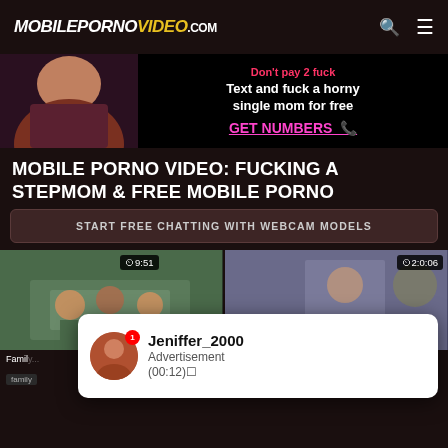MOBILEPORNOVIDEO.com
[Figure (photo): Advertisement banner with woman photo and text: Don't pay 2 fuck. Text and fuck a horny single mom for free. GET NUMBERS]
MOBILE PORNO VIDEO: FUCKING A STEPMOM & FREE MOBILE PORNO
START FREE CHATTING WITH WEBCAM MODELS
[Figure (screenshot): Video thumbnail left - family scene at dinner table, duration not shown on left]
[Figure (screenshot): Video thumbnail right - duration 9:51 shown, family scene]
[Figure (screenshot): Video thumbnail - duration 2:06, stepmom scene]
Family
family
Busty stepmom obsession roughnex
busty babes  rough porn  ...
Jeniffer_2000
Advertisement
(00:12)□